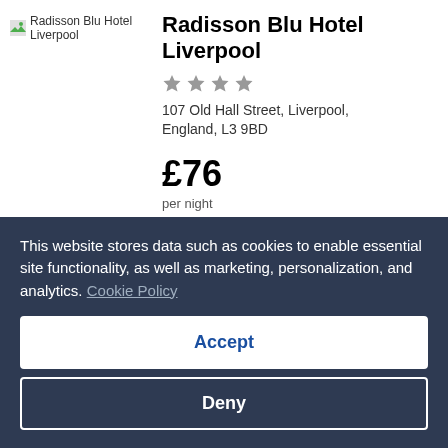[Figure (photo): Hotel image placeholder for Radisson Blu Hotel Liverpool]
Radisson Blu Hotel Liverpool
107 Old Hall Street, Liverpool, England, L3 9BD
£76 per night 29 Aug - 30 Aug
Show details
This website stores data such as cookies to enable essential site functionality, as well as marketing, personalization, and analytics. Cookie Policy
Accept
Deny